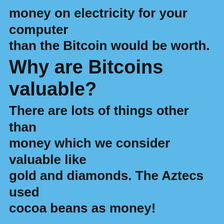money on electricity for your computer than the Bitcoin would be worth.
Why are Bitcoins valuable?
There are lots of things other than money which we consider valuable like gold and diamonds. The Aztecs used cocoa beans as money!
Bitcoins are valuable because people are willing to exchange them for real goods and services, and even cash.
Why do people want